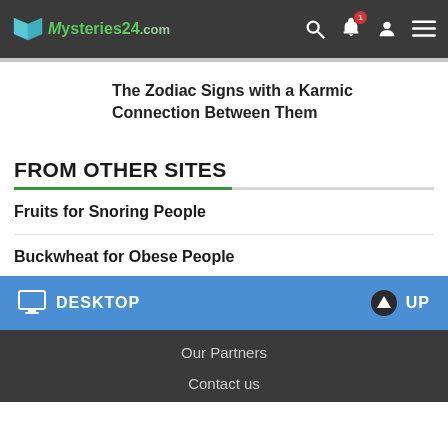Mysteries24.com
The Zodiac Signs with a Karmic Connection Between Them
FROM OTHER SITES
Fruits for Snoring People
Buckwheat for Obese People
DESKTOP   UP
Our Partners
Contact us